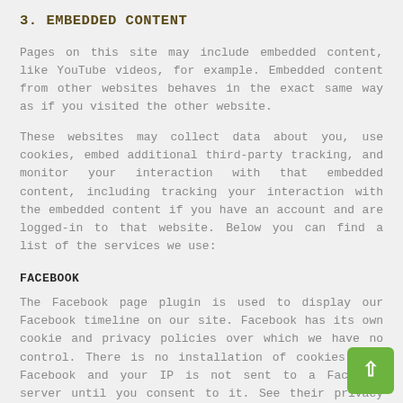3. EMBEDDED CONTENT
Pages on this site may include embedded content, like YouTube videos, for example. Embedded content from other websites behaves in the exact same way as if you visited the other website.
These websites may collect data about you, use cookies, embed additional third-party tracking, and monitor your interaction with that embedded content, including tracking your interaction with the embedded content if you have an account and are logged-in to that website. Below you can find a list of the services we use:
FACEBOOK
The Facebook page plugin is used to display our Facebook timeline on our site. Facebook has its own cookie and privacy policies over which we have no control. There is no installation of cookies from Facebook and your IP is not sent to a Facebook server until you consent to it. See their privacy policy here: